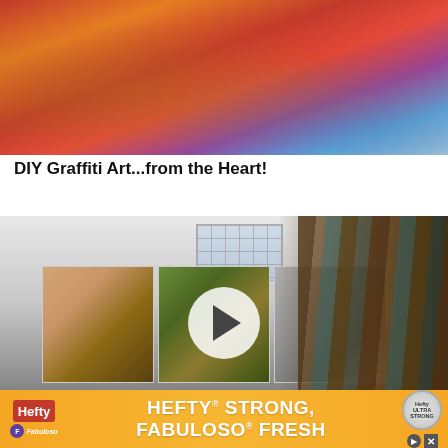[Figure (photo): Colorful abstract graffiti art in red, orange, pink, blue and purple tones on large panels]
DIY Graffiti Art...from the Heart!
[Figure (photo): Art studio interior showing three portrait paintings on a white wall and a clothing rack with canvases on the right. A video play button overlay is visible in the center. BBC Africa watermark in bottom right corner.]
Meet th
[Figure (other): Hefty brand advertisement banner with orange gradient background. Text reads HEFTY STRONG, FABULOSO FRESH. Shows Hefty and Fabuloso logos, Hefty product badge, and close/play controls.]
astic